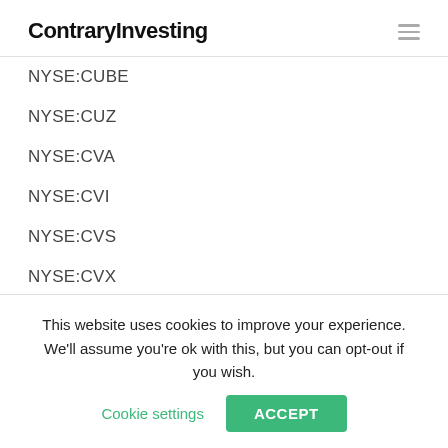ContraryInvesting
NYSE:CUBE
NYSE:CUZ
NYSE:CVA
NYSE:CVI
NYSE:CVS
NYSE:CVX
NYSE:CWB
NYSE:CWT
NYSE:CXE
This website uses cookies to improve your experience. We'll assume you're ok with this, but you can opt-out if you wish. Cookie settings ACCEPT